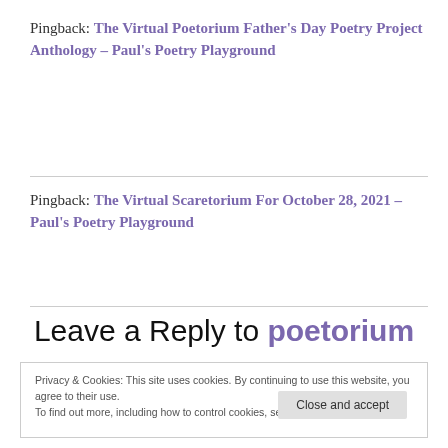Pingback: The Virtual Poetorium Father's Day Poetry Project Anthology – Paul's Poetry Playground
Pingback: The Virtual Scaretorium For October 28, 2021 – Paul's Poetry Playground
Leave a Reply to poetorium
Privacy & Cookies: This site uses cookies. By continuing to use this website, you agree to their use. To find out more, including how to control cookies, see here: Cookie Policy